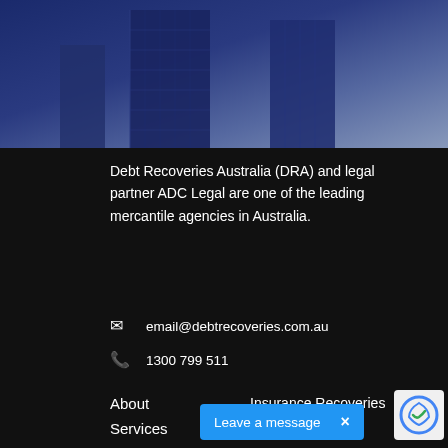[Figure (photo): Dark blue photo of glass skyscraper buildings against sky, with orange horizontal bar at top center]
Debt Recoveries Australia (DRA) and legal partner ADC Legal are one of the leading mercantile agencies in Australia.
email@debtrecoveries.com.au
1300 799 511
About
Services
Insurance Recoveries
Debtor Support
Leave a message  ×